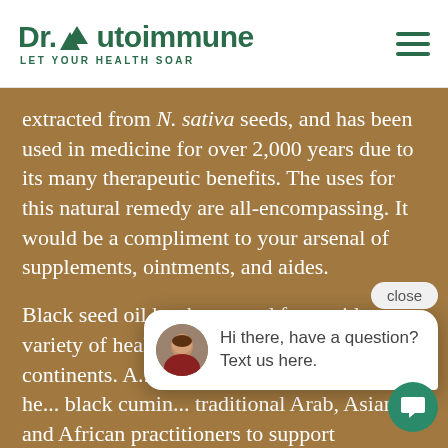Dr. Autoimmune — LET YOUR HEALTH SOAR
extracted from N. sativa seeds, and has been used in medicine for over 2,000 years due to its many therapeutic benefits. The uses for this natural remedy are all-encompassing. It would be a compliment to your arsenal of supplements, ointments, and aides.
Black seed oil has been used for a wide variety of health conditions across the continents. A... been referred... 'universal he... black cumin... traditional Arab, Asian, and African practitioners to support conditions such digestive and respiratory problems, headaches, and bacterial infections. In addition to ingesting this oil that brandishes
[Figure (screenshot): Chat popup overlay with avatar photo of woman, message 'Hi there, have a question? Text us here.' and a close button. Teal chat bubble icon in bottom right.]